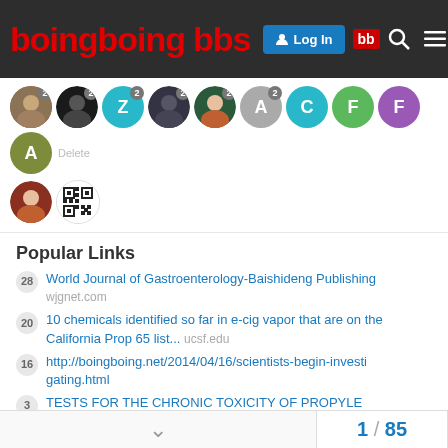Boing Boing BBS
[Figure (screenshot): Avatar row with user profile images and badges showing number 2]
Popular Links
28 World Journal of Gastroenterology-Baishideng Publishing wjgnet.com
20 10 chemicals identified so far in e-cig vapor that are on the California Prop 65 list... ucsf.edu
16 http://boingboing.net/2014/04/16/scientists-begin-investigating.html
3 TESTS FOR THE CHRONIC TOXICITY OF PROPYLENE GLYCOL AND TRIETHYLENE GLYCOL ON MONKEYS... aspetjournals.org
3 Nicotine, the Wonder Drug? | DiscoverMagazine.com discovermagazine.com
1 / 85